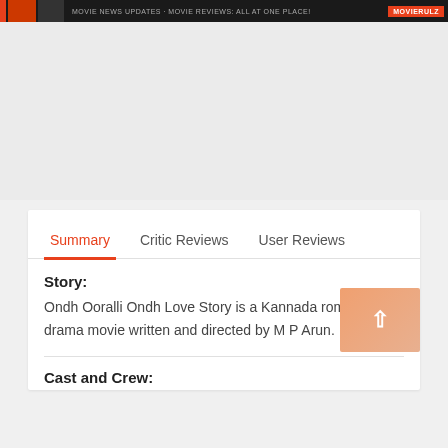MOVIE NEWS UPDATES · MOVIE REVIEWS: ALL AT ONE PLACE! | MOVIERULZ
Summary | Critic Reviews | User Reviews
Story:
Ondh Ooralli Ondh Love Story is a Kannada romantic drama movie written and directed by M P Arun.
Cast and Crew: